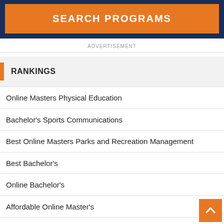[Figure (other): Orange 'SEARCH PROGRAMS' button on dark navy blue background]
ADVERTISEMENT
RANKINGS
Online Masters Physical Education
Bachelor's Sports Communications
Best Online Masters Parks and Recreation Management
Best Bachelor's
Online Bachelor's
Affordable Online Master's
Master's
Affordable Schools (Competitive)